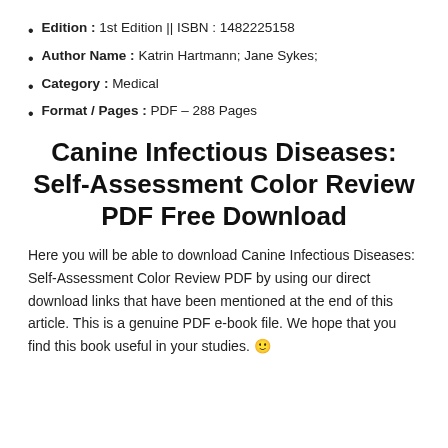Edition : 1st Edition || ISBN : 1482225158
Author Name : Katrin Hartmann; Jane Sykes;
Category : Medical
Format / Pages : PDF – 288 Pages
Canine Infectious Diseases: Self-Assessment Color Review PDF Free Download
Here you will be able to download Canine Infectious Diseases: Self-Assessment Color Review PDF by using our direct download links that have been mentioned at the end of this article. This is a genuine PDF e-book file. We hope that you find this book useful in your studies. 🙂